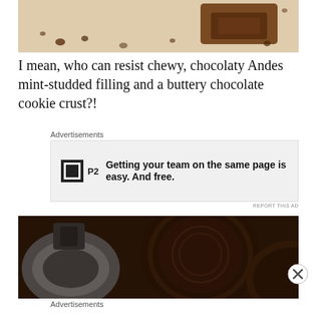[Figure (photo): Close-up of chocolate pieces/brownie bar on white background with crumbs scattered]
I mean, who can resist chewy, chocolaty Andes mint-studded filling and a buttery chocolate cookie crust?!
Advertisements
[Figure (screenshot): P2 advertisement: 'Getting your team on the same page is easy. And free.' with P2 logo]
REPORT THIS AD
[Figure (photo): Close-up of Oreo cookie and metallic bottle cap on dark background]
Advertisements
[Figure (screenshot): Ulta Beauty advertisement with makeup images and 'SHOP NOW' button]